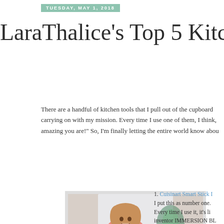TUESDAY, MAY 1, 2018
LaraThalice's Top 5 Kitchen Tool
There are a handful of kitchen tools that I pull out of the cupboard carrying on with my mission. Every time I use one of them, I think, amazing you are!" So, I'm finally letting the entire world know abou
[Figure (photo): Woman in pink top using a Cuisinart immersion blender]
1. Cuisinart Smart Stick I put this as number one. Every time I use it, it's li inventor IMMERSION BL COMPLETE. I have consi because it's so freaking without having to move thing in the lands. I also popsicles, quick smooth THING IN THE LANDS is